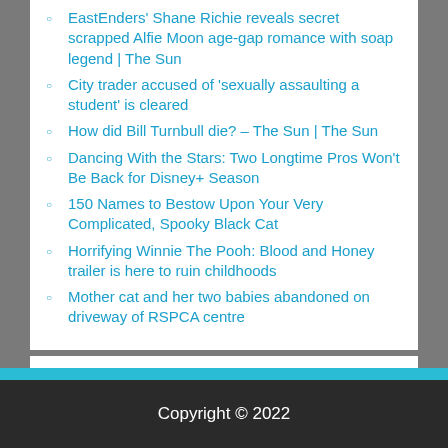EastEnders' Shane Richie reveals secret scrapped Alfie Moon age-gap romance with soap legend | The Sun
City trader accused of 'sexually assaulting a student' is cleared
How did Bill Turnbull die? – The Sun | The Sun
Dancing With the Stars: Two Longtime Pros Won't Be Back for Disney+ Season
150 Names to Bestow Upon Your Very Complicated, Spooky Black Cat
Horrifying Winnie The Pooh: Blood and Honey trailer is here to ruin childhoods
Mother cat and her two babies abandoned on driveway of RSPCA centre
Copyright © 2022